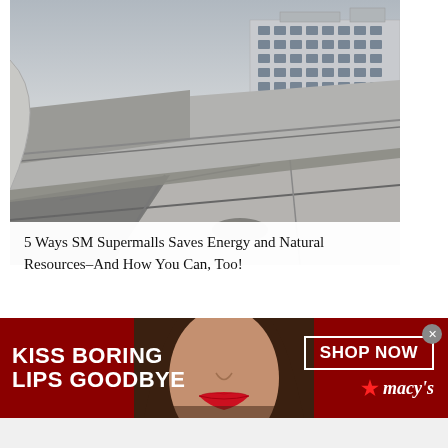[Figure (photo): Aerial/rooftop view of a large flat roof with concrete panels and metal framing, with a modern building and cloudy sky visible in the background]
5 Ways SM Supermalls Saves Energy and Natural Resources–And How You Can, Too!
[Figure (photo): Macy's advertisement banner with dark red background. Left side reads 'KISS BORING LIPS GOODBYE' in bold white text. Center shows a woman's face with red lipstick. Right side has 'SHOP NOW' button outline and Macy's star logo.]